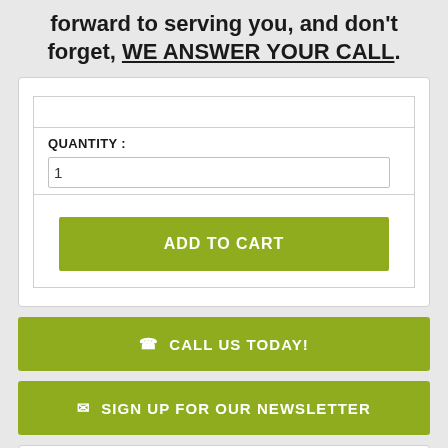forward to serving you, and don't forget, WE ANSWER YOUR CALL.
[Figure (screenshot): E-commerce product quantity and add to cart widget with a white card, quantity label, input field showing 1, and a green Add to Cart button]
CALL US TODAY!
SIGN UP FOR OUR NEWSLETTER